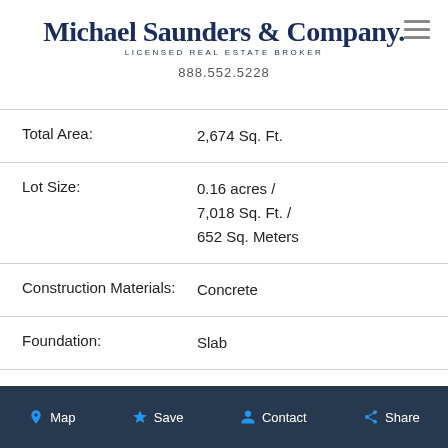Michael Saunders & Company. LICENSED REAL ESTATE BROKER 888.552.5228
| Field | Value |
| --- | --- |
| Total Area: | 2,674 Sq. Ft. |
| Lot Size: | 0.16 acres / 7,018 Sq. Ft. / 652 Sq. Meters |
| Construction Materials: | Concrete |
| Foundation: | Slab |
| Levels: | One |
| Living Area: | 1,738 Sq.Ft. / |
Map  Save  Contact  Share